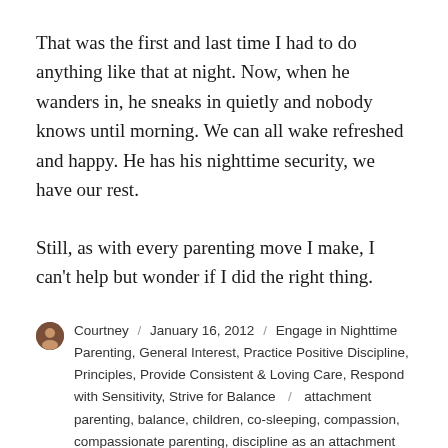That was the first and last time I had to do anything like that at night. Now, when he wanders in, he sneaks in quietly and nobody knows until morning. We can all wake refreshed and happy. He has his nighttime security, we have our rest.
Still, as with every parenting move I make, I can't help but wonder if I did the right thing.
Courtney / January 16, 2012 / Engage in Nighttime Parenting, General Interest, Practice Positive Discipline, Principles, Provide Consistent & Loving Care, Respond with Sensitivity, Strive for Balance / attachment parenting, balance, children, co-sleeping, compassion, compassionate parenting, discipline as an attachment parent, family, gentle discipline, gentle parenting, mama